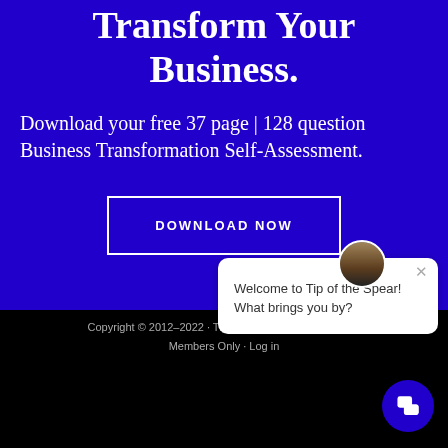Transform Your Business.
Download your free 37 page | 128 question Business Transformation Self-Assessment.
DOWNLOAD NOW
[Figure (screenshot): Chat popup widget with avatar photo of a man in suit, close button (x), and message: Welcome to Tip of the Spear! What brings you by?]
Copyright © 2012–2022 · Tip of the Spear Ventures LLC · Members Only · Log in